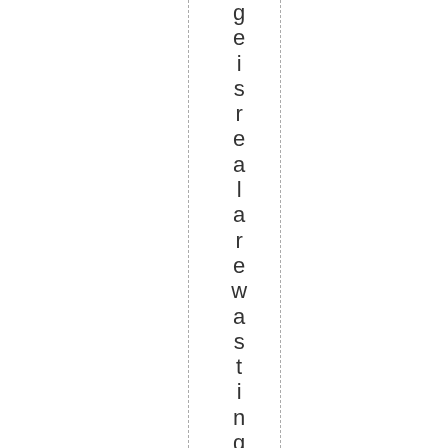g e i s r e a l a r e w a s t i n g t i m e . [